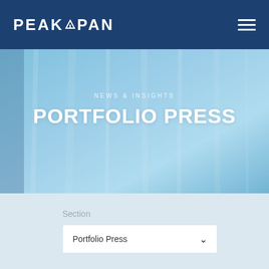PEAKSPAN
[Figure (photo): Blue-toned hero banner with fabric/curtain texture in the background, semi-transparent overlay]
NEWS & INSIGHTS
PORTFOLIO PRESS
Section
Portfolio Press